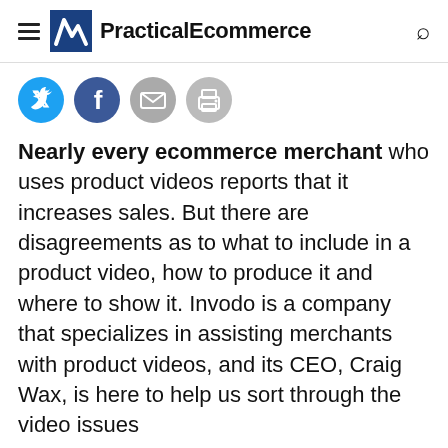PracticalEcommerce
[Figure (infographic): Social share buttons: Twitter (blue bird), Facebook (blue f), Email (grey envelope), Print (grey printer)]
Nearly every ecommerce merchant who uses product videos reports that it increases sales. But there are disagreements as to what to include in a product video, how to produce it and where to show it. Invodo is a company that specializes in assisting merchants with product videos, and its CEO, Craig Wax, is here to help us sort through the video issues